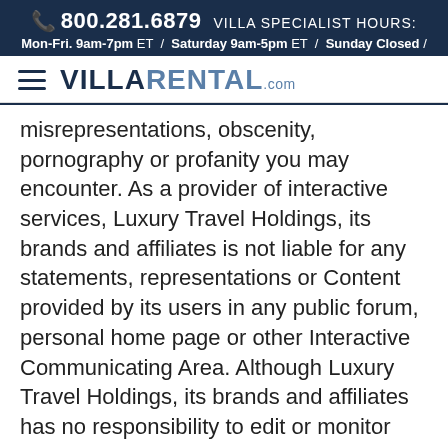📞 800.281.6879  VILLA SPECIALIST HOURS: Mon-Fri. 9am-7pm ET / Saturday 9am-5pm ET / Sunday Closed /
[Figure (logo): VillaRental.com logo with hamburger menu icon]
misrepresentations, obscenity, pornography or profanity you may encounter. As a provider of interactive services, Luxury Travel Holdings, its brands and affiliates is not liable for any statements, representations or Content provided by its users in any public forum, personal home page or other Interactive Communicating Area. Although Luxury Travel Holdings, its brands and affiliates has no responsibility to edit or monitor any of the Content posted to or distributed through any Interactive Communicating Area, Luxury Travel...